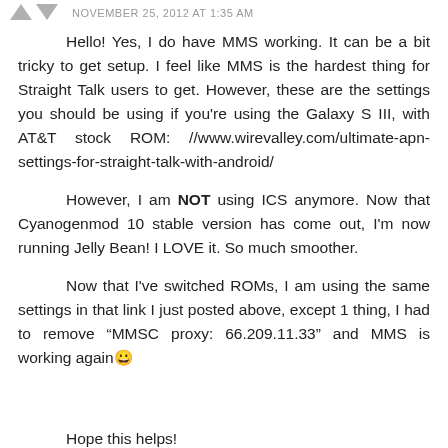NOVEMBER 25, 2012 AT 1:35 AM
Hello! Yes, I do have MMS working. It can be a bit tricky to get setup. I feel like MMS is the hardest thing for Straight Talk users to get. However, these are the settings you should be using if you're using the Galaxy S III, with AT&T stock ROM: //www.wirevalley.com/ultimate-apn-settings-for-straight-talk-with-android/
However, I am NOT using ICS anymore. Now that Cyanogenmod 10 stable version has come out, I'm now running Jelly Bean! I LOVE it. So much smoother.
Now that I've switched ROMs, I am using the same settings in that link I just posted above, except 1 thing, I had to remove “MMSC proxy: 66.209.11.33” and MMS is working again 😀
Hope this helps!